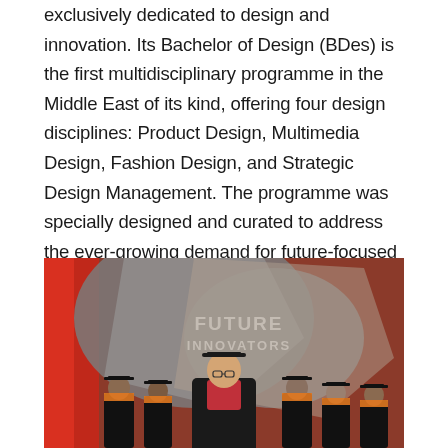exclusively dedicated to design and innovation. Its Bachelor of Design (BDes) is the first multidisciplinary programme in the Middle East of its kind, offering four design disciplines: Product Design, Multimedia Design, Fashion Design, and Strategic Design Management. The programme was specially designed and curated to address the ever-growing demand for future-focused and talented designers and innovators regionally and globally, and blends tech fluency, visual literacy and strategic proficiency.
[Figure (photo): Graduation ceremony photo showing a person in academic cap and gown with pink/red hood standing in the foreground, with other graduates in black caps and gowns with orange sashes in the background. A grey backdrop reads 'FUTURE INNOVATORS' in bold text. Red panels are visible on the left side of the stage.]